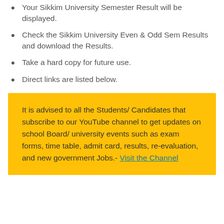Your Sikkim University Semester Result will be displayed.
Check the Sikkim University Even & Odd Sem Results and download the Results.
Take a hard copy for future use.
Direct links are listed below.
It is advised to all the Students/ Candidates that subscribe to our YouTube channel to get updates on school Board/ university events such as exam forms, time table, admit card, results, re-evaluation, and new government Jobs.- Visit the Channel